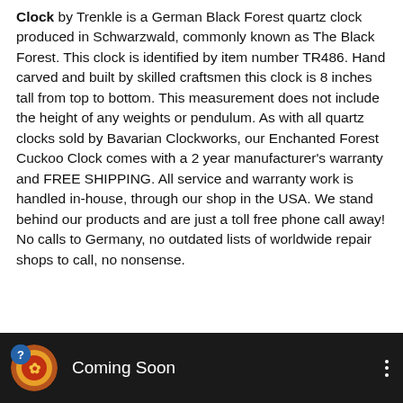Clock by Trenkle is a German Black Forest quartz clock produced in Schwarzwald, commonly known as The Black Forest. This clock is identified by item number TR486. Hand carved and built by skilled craftsmen this clock is 8 inches tall from top to bottom. This measurement does not include the height of any weights or pendulum. As with all quartz clocks sold by Bavarian Clockworks, our Enchanted Forest Cuckoo Clock comes with a 2 year manufacturer's warranty and FREE SHIPPING. All service and warranty work is handled in-house, through our shop in the USA. We stand behind our products and are just a toll free phone call away! No calls to Germany, no outdated lists of worldwide repair shops to call, no nonsense.
[Figure (screenshot): Dark video bar at the bottom showing a circular avatar icon with a question mark overlay and an ornate logo, the text 'Coming Soon', and a three-dot menu icon on the right.]